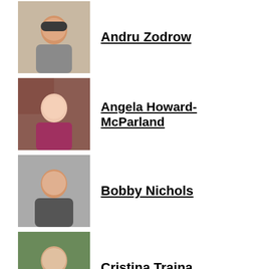Andru Zodrow
Angela Howard-McParland
Bobby Nichols
Cristina Traina
Dwayne Fernandes
Grace Doerfler
Guest Contributor